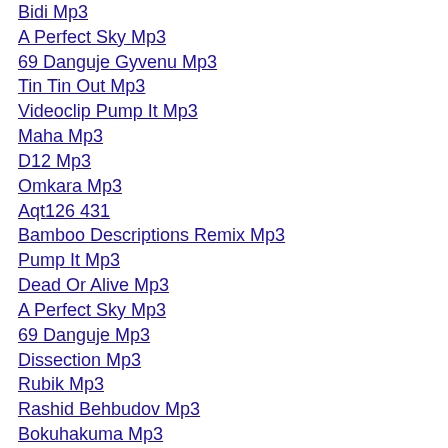Bidi Mp3
A Perfect Sky Mp3
69 Danguje Gyvenu Mp3
Tin Tin Out Mp3
Videoclip Pump It Mp3
Maha Mp3
D12 Mp3
Omkara Mp3
Aqt126 431
Bamboo Descriptions Remix Mp3
Pump It Mp3
Dead Or Alive Mp3
A Perfect Sky Mp3
69 Danguje Mp3
Dissection Mp3
Rubik Mp3
Rashid Behbudov Mp3
Bokuhakuma Mp3
Aqt126 431
Naninni Mp3
Beyonc Mp3
Bokuha Kuma Mp3
Tagalog Andrew E Mas Gusto Mo Mp3
John Digweed Mp3
Tu Meri Jaan Hai Mp3 Mp3